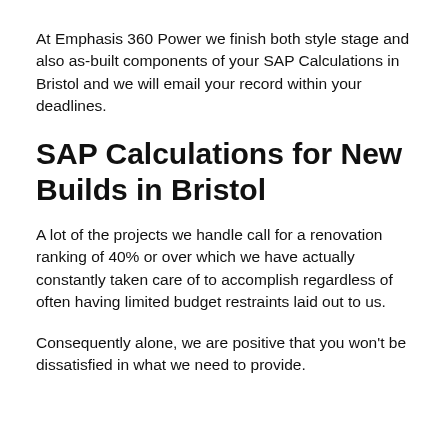At Emphasis 360 Power we finish both style stage and also as-built components of your SAP Calculations in Bristol and we will email your record within your deadlines.
SAP Calculations for New Builds in Bristol
A lot of the projects we handle call for a renovation ranking of 40% or over which we have actually constantly taken care of to accomplish regardless of often having limited budget restraints laid out to us.
Consequently alone, we are positive that you won't be dissatisfied in what we need to provide.